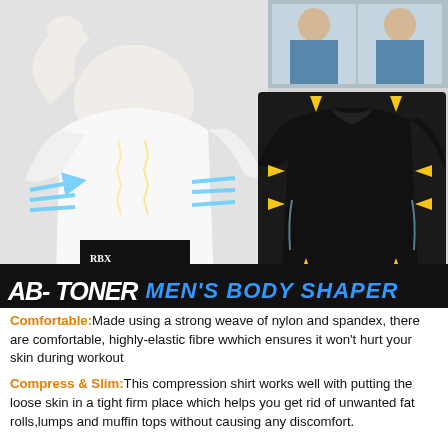[Figure (photo): Product promotional image showing a man wearing a white compression shirt (AB-Toner Men's Body Shaper) with blue arrows indicating compression, before/after photos of man in blue dress shirt, and a black shirt graphic with yellow compression arrows]
AB-TONER MEN'S BODY SHAPER
Comfortable:Made using a strong weave of nylon and spandex, there are comfortable, highly-elastic fibre wwhich ensures it won't hurt your skin during workout
Compress & Slim:This compression shirt works well with putting the loose skin in a tight firm place which helps you get rid of unwanted fat rolls,lumps and muffin tops without causing any discomfort.